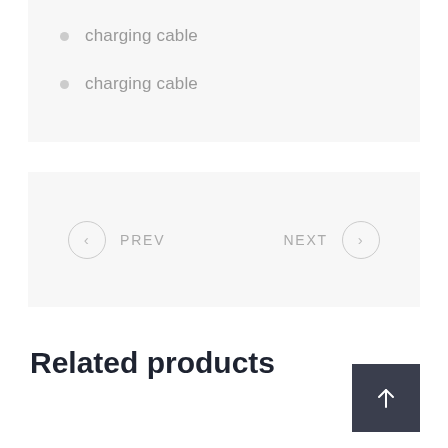charging cable
charging cable
PREV
NEXT
Related products